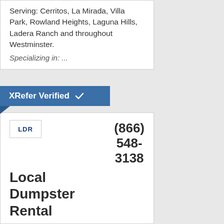Serving: Cerritos, La Mirada, Villa Park, Rowland Heights, Laguna Hills, Ladera Ranch and throughout Westminster.
Specializing in: ...
[Figure (other): XRefer Verified badge/banner in blue with white checkmark]
[Figure (logo): LDR logo in a bordered box]
(866) 548-3138
Local Dumpster Rental
Verified: Insurance | License
Serving: La Palma, La Mirada, Newport Coast, Lomita, Foothill Ranch, Capistrano Beach and throughout Westminster.
Specializing in: ...